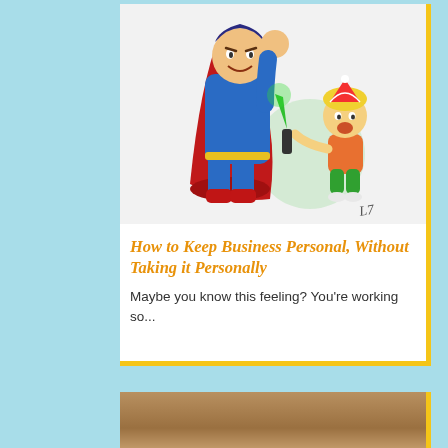[Figure (illustration): Cartoon illustration of a muscular superhero in blue suit shrinking/cowering in a red chair, and a small child with a party hat holding a green toy wand/sword with a green glow effect. Artist signature visible in bottom right.]
How to Keep Business Personal, Without Taking it Personally
Maybe you know this feeling? You're working so...
[Figure (photo): Partial photo of a person's head/hair, cropped at bottom of page.]